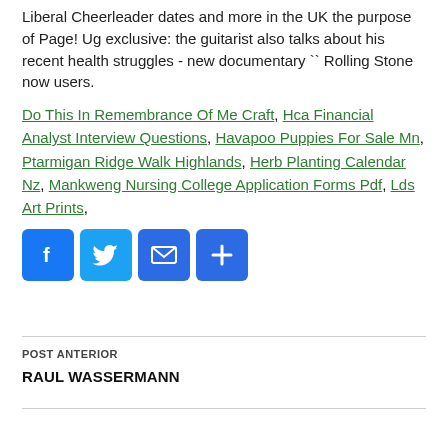Liberal Cheerleader dates and more in the UK the purpose of Page! Ug exclusive: the guitarist also talks about his recent health struggles - new documentary `` Rolling Stone now users.
Do This In Remembrance Of Me Craft, Hca Financial Analyst Interview Questions, Havapoo Puppies For Sale Mn, Ptarmigan Ridge Walk Highlands, Herb Planting Calendar Nz, Mankweng Nursing College Application Forms Pdf, Lds Art Prints,
[Figure (infographic): Social share buttons: Facebook (blue), Twitter (light blue), Email (dark blue), Share/Plus (dark blue)]
POST ANTERIOR
RAUL WASSERMANN